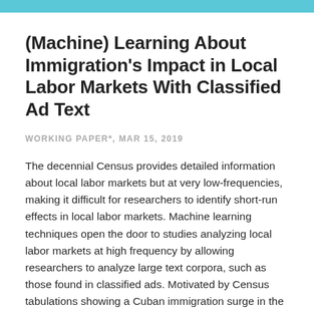(Machine) Learning About Immigration's Impact in Local Labor Markets With Classified Ad Text
WORKING PAPER*, MAR 15, 2019
The decennial Census provides detailed information about local labor markets but at very low-frequencies, making it difficult for researchers to identify short-run effects in local labor markets. Machine learning techniques open the door to studies analyzing local labor markets at high frequency by allowing researchers to analyze large text corpora, such as those found in classified ads. Motivated by Census tabulations showing a Cuban immigration surge in the Miami metro area around 1980, we document a decline in the Miami area labor market around some of labor